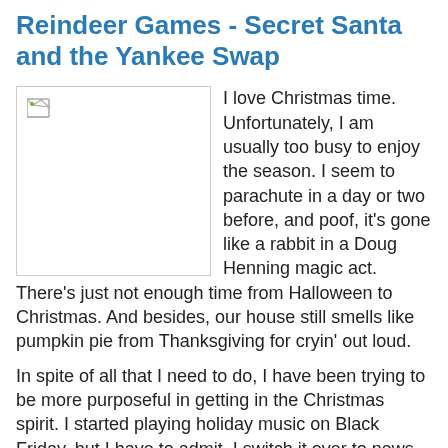Reindeer Games - Secret Santa and the Yankee Swap
[Figure (photo): Broken/missing image placeholder with small broken image icon in top left corner]
I love Christmas time. Unfortunately, I am usually too busy to enjoy the season. I seem to parachute in a day or two before, and poof, it's gone like a rabbit in a Doug Henning magic act. There's just not enough time from Halloween to Christmas. And besides, our house still smells like pumpkin pie from Thanksgiving for cryin' out loud.
In spite of all that I need to do, I have been trying to be more purposeful in getting in the Christmas spirit. I started playing holiday music on Black Friday, but I have to admit, I switch it over to news radio every time I hear Madonna. It's like oil and water, Madonna and Christmas. I like traditional hymns like We Three Kings, even though they were not there when